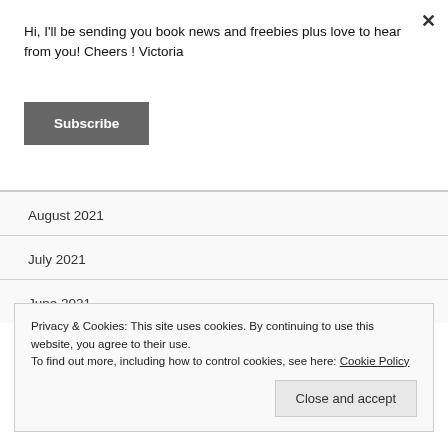Hi, I'll be sending you book news and freebies plus love to hear from you! Cheers ! Victoria
Subscribe
×
August 2021
July 2021
June 2021
May 2021
Privacy & Cookies: This site uses cookies. By continuing to use this website, you agree to their use.
To find out more, including how to control cookies, see here: Cookie Policy
Close and accept